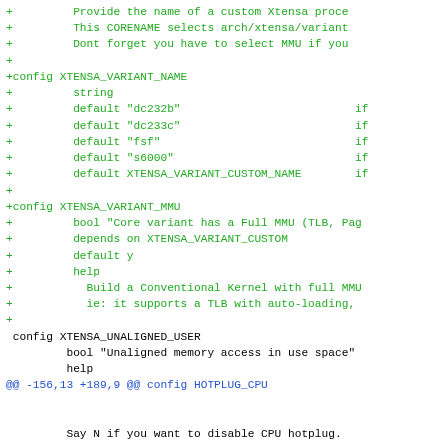Diff/patch code snippet showing Kconfig changes for Xtensa variant configuration and MATH_EMULATION removal